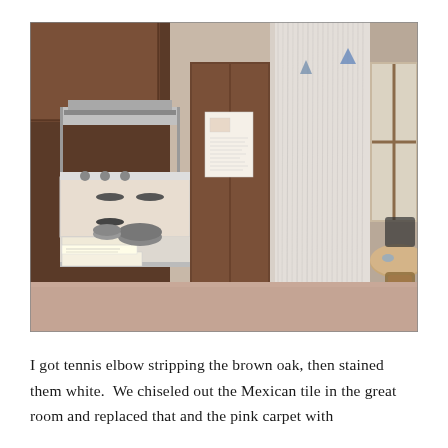[Figure (photo): Interior photograph of a kitchen/living area from the 1970s-80s. Shows a white electric stovetop range with a metallic range hood above, dark brown oak wood cabinets, a tall refrigerator or pantry cabinet in the center, books stacked on the counter, cookware, and a dining area with a round table and chairs visible on the right. The walls appear to be unpainted or lightly finished concrete/plaster with a curtain or sheer drape hanging. The floors appear to be pink/tan colored.]
I got tennis elbow stripping the brown oak, then stained them white.  We chiseled out the Mexican tile in the great room and replaced that and the pink carpet with